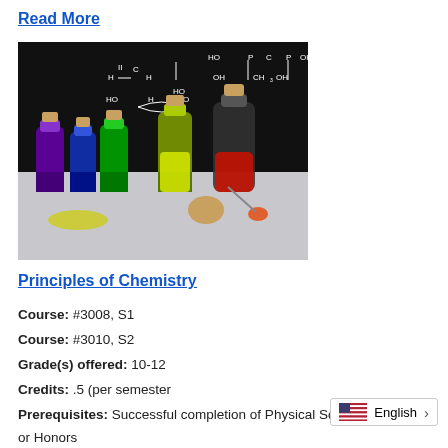Read More
[Figure (photo): Chemistry illustration showing colorful liquid-filled glass bottles with cork stoppers arranged in front of a blackboard with chemical structure formulas drawn in white chalk.]
Principles of Chemistry
Course: #3008, S1
Course: #3010, S2
Grade(s) offered: 10-12
Credits: .5 (per semester
Prerequisites: Successful completion of Physical Science G or Honors
English